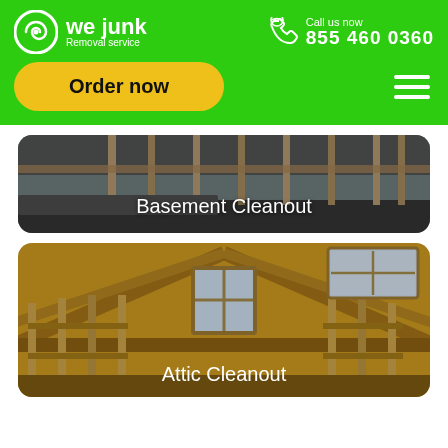we junk Removal service | Call us now 855 460 0360
Order now
[Figure (photo): Interior photo of an unfinished basement with wooden framing beams and concrete floor, with text overlay 'Basement Cleanout']
[Figure (photo): Interior photo of an unfinished attic space with wooden rafters, skylights and windows, with text overlay 'Attic Cleanout']